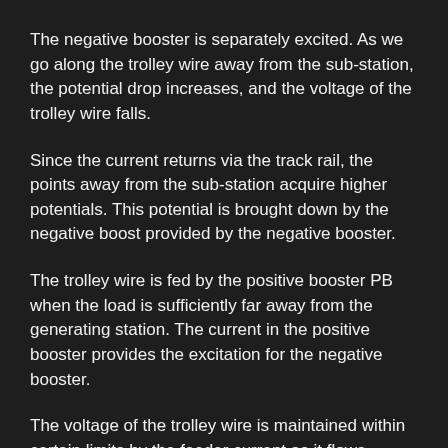The negative booster is separately excited. As we go along the trolley wire away from the sub-station, the potential drop increases, and the voltage of the trolley wire falls.
Since the current returns via the track rail, the points away from the sub-station acquire higher potentials. This potential is brought down by the negative boost provided by the negative booster.
The trolley wire is fed by the positive booster PB when the load is sufficiently far away from the generating station. The current in the positive booster provides the excitation for the negative booster.
The voltage of the trolley wire is maintained within certain limits by the feeder current as it flows through the booster.